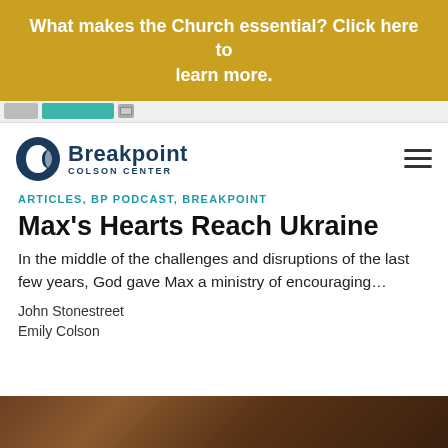What makes the Church essential? Click here to learn more.
[Figure (screenshot): Advertisement banner strip with thumbnail images]
[Figure (logo): Breakpoint Colson Center logo with dark blue circular icon and text]
ARTICLES, BP PODCAST, BREAKPOINT
Max’s Hearts Reach Ukraine
In the middle of the challenges and disruptions of the last few years, God gave Max a ministry of encouraging…
John Stonestreet
Emily Colson
[Figure (photo): Partial photo at bottom of page showing dark warm-toned image]